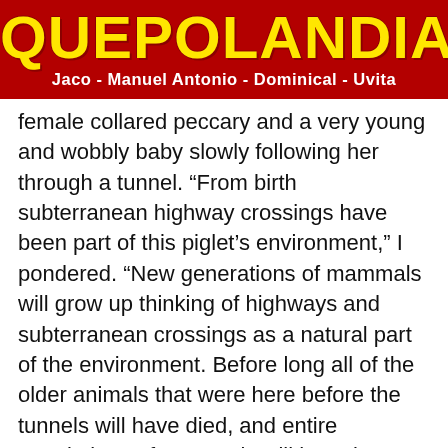QUEPOLANDIA
Jaco - Manuel Antonio - Dominical - Uvita
female collared peccary and a very young and wobbly baby slowly following her through a tunnel. “From birth subterranean highway crossings have been part of this piglet’s environment,” I pondered. “New generations of mammals will grow up thinking of highways and subterranean crossings as a natural part of the environment. Before long all of the older animals that were here before the tunnels will have died, and entire populations of mammals will have been born into the current reality of crossing under the road